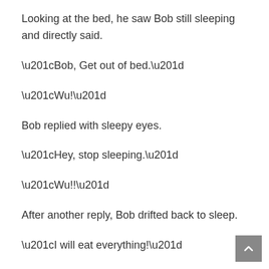Looking at the bed, he saw Bob still sleeping and directly said.
“Bob, Get out of bed.”
“Wu!”
Bob replied with sleepy eyes.
“Hey, stop sleeping.”
“Wu!!”
After another reply, Bob drifted back to sleep.
“I will eat everything!”
Bob’s head directly rose, his eyes wide open, and he